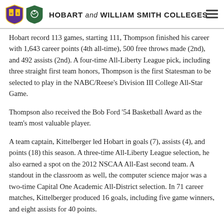HOBART AND WILLIAM SMITH COLLEGES
Hobart record 113 games, starting 111, Thompson finished his career with 1,643 career points (4th all-time), 500 free throws made (2nd), and 492 assists (2nd). A four-time All-Liberty League pick, including three straight first team honors, Thompson is the first Statesman to be selected to play in the NABC/Reese's Division III College All-Star Game.
Thompson also received the Bob Ford '54 Basketball Award as the team's most valuable player.
A team captain, Kittelberger led Hobart in goals (7), assists (4), and points (18) this season. A three-time All-Liberty League selection, he also earned a spot on the 2012 NSCAA All-East second team. A standout in the classroom as well, the computer science major was a two-time Capital One Academic All-District selection. In 71 career matches, Kittelberger produced 16 goals, including five game winners, and eight assists for 40 points.
Kittelberger was also presented the Stephen R. Murphy '77 Memorial Award as the soccer team's most valuable player.